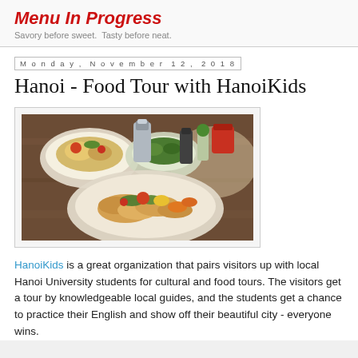Menu In Progress
Savory before sweet. Tasty before neat.
Monday, November 12, 2018
Hanoi - Food Tour with HanoiKids
[Figure (photo): Photo of Vietnamese food dishes on a table, including bowls of rice/banh mi with toppings and condiments]
HanoiKids is a great organization that pairs visitors up with local Hanoi University students for cultural and food tours. The visitors get a tour by knowledgeable local guides, and the students get a chance to practice their English and show off their beautiful city - everyone wins.